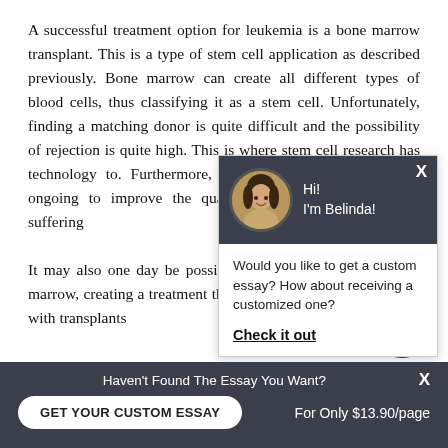A successful treatment option for leukemia is a bone marrow transplant. This is a type of stem cell application as described previously. Bone marrow can create all different types of blood cells, thus classifying it as a stem cell. Unfortunately, finding a matching donor is quite difficult and the possibility of rejection is quite high. This is where stem cell research has technology to. Furthermore, the research for treatments is ongoing to improve the quality of life for those people suffering
[Figure (screenshot): Chat popup with avatar of a woman named Belinda, greeting 'Hi! I'm Belinda!', offering a custom essay with 'Check it out' link]
It may also one day be possible to engineer a person's bone marrow, creating a treatment that negates the current risks associated with transplants
[Figure (screenshot): Chat icon bubble (dark circle with message icon) in bottom right]
Haven't Found The Essay You Want? GET YOUR CUSTOM ESSAY   For Only $13.90/page   X